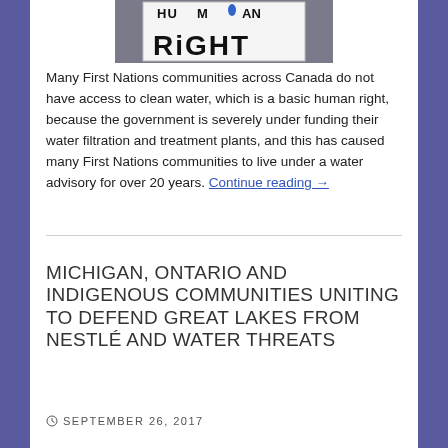[Figure (photo): Protest sign reading 'HUMAN RIGHT' with a water drop icon, held up at a demonstration]
Many First Nations communities across Canada do not have access to clean water, which is a basic human right, because the government is severely under funding their water filtration and treatment plants, and this has caused many First Nations communities to live under a water advisory for over 20 years. Continue reading →
MICHIGAN, ONTARIO AND INDIGENOUS COMMUNITIES UNITING TO DEFEND GREAT LAKES FROM NESTLÉ AND WATER THREATS
SEPTEMBER 26, 2017